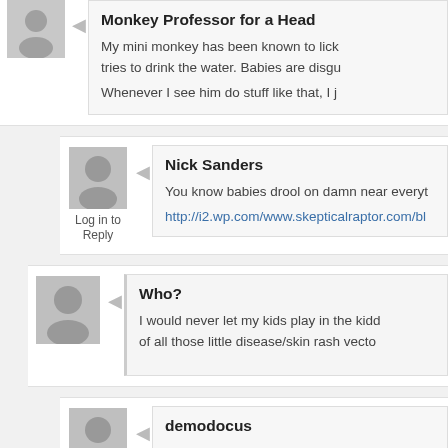Monkey Professor for a Head
My mini monkey has been known to lick tries to drink the water. Babies are disgu
Whenever I see him do stuff like that, I j
Nick Sanders
Log in to Reply
You know babies drool on damn near everyt
http://i2.wp.com/www.skepticalraptor.com/bl
Who?
I would never let my kids play in the kidd of all those little disease/skin rash vecto
demodocus
Log in to Reply
As a matter of fact, i caught my kid sucking